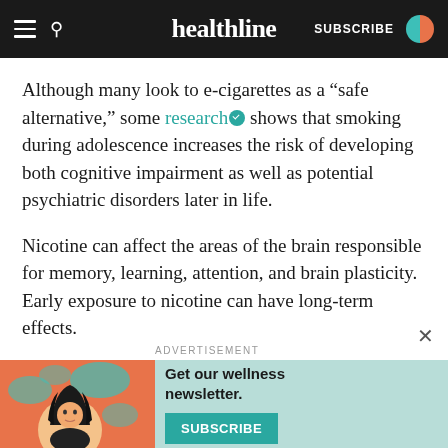healthline — SUBSCRIBE
Although many look to e-cigarettes as a “safe alternative,” some research shows that smoking during adolescence increases the risk of developing both cognitive impairment as well as potential psychiatric disorders later in life.
Nicotine can affect the areas of the brain responsible for memory, learning, attention, and brain plasticity. Early exposure to nicotine can have long-term effects.
“We cannot allow cigarettes to become an on-ramp to nicotine addiction for younger Americans,” Azar said.
[Figure (illustration): Advertisement banner with Healthline wellness newsletter promotion. Left side shows illustrated woman with dark hair against orange and teal background. Right side on teal background reads 'Get our wellness newsletter.' with a teal SUBSCRIBE button.]